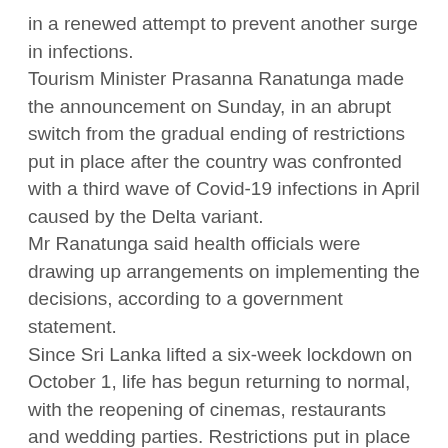in a renewed attempt to prevent another surge in infections.
Tourism Minister Prasanna Ranatunga made the announcement on Sunday, in an abrupt switch from the gradual ending of restrictions put in place after the country was confronted with a third wave of Covid-19 infections in April caused by the Delta variant.
Mr Ranatunga said health officials were drawing up arrangements on implementing the decisions, according to a government statement.
Since Sri Lanka lifted a six-week lockdown on October 1, life has begun returning to normal, with the reopening of cinemas, restaurants and wedding parties. Restrictions put in place after the country was faced with a third wave of Covid-19 infections caused by the Delta variant in April have been gradually lifted.
However, police continue to enforce the wearing of face